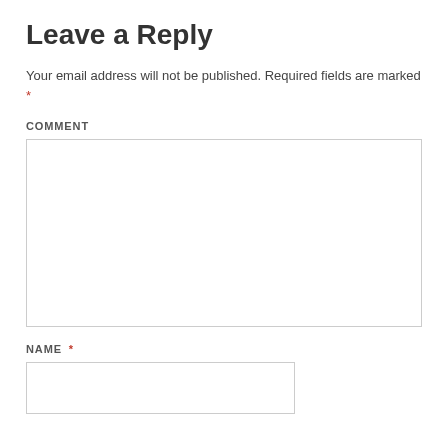Leave a Reply
Your email address will not be published. Required fields are marked *
COMMENT
NAME *